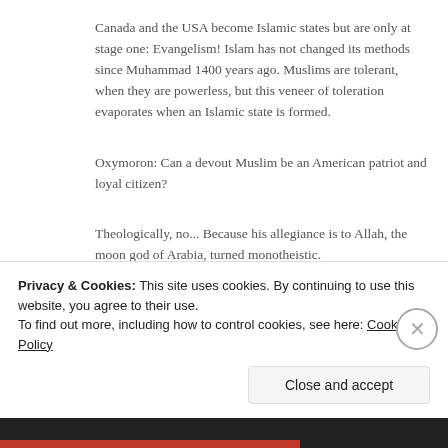Canada and the USA become Islamic states but are only at stage one: Evangelism! Islam has not changed its methods since Muhammad 1400 years ago. Muslims are tolerant, when they are powerless, but this veneer of toleration evaporates when an Islamic state is formed.
Oxymoron: Can a devout Muslim be an American patriot and loyal citizen?
Theologically, no... Because his allegiance is to Allah, the moon god of Arabia, turned monotheistic. Scripturally, no... Because his allegiance is to the five pillars of Islam and the Quran.
Privacy & Cookies: This site uses cookies. By continuing to use this website, you agree to their use.
To find out more, including how to control cookies, see here: Cookie Policy
Close and accept